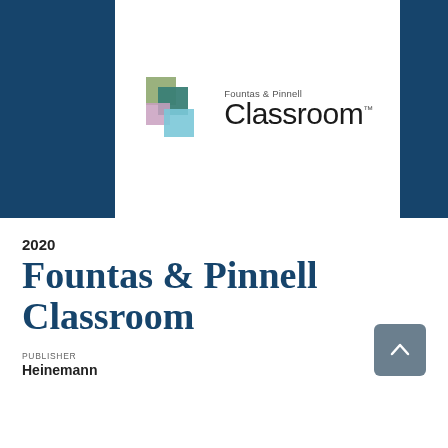[Figure (logo): Fountas & Pinnell Classroom logo with colorful overlapping squares and text on white background centered in dark teal banner]
2020
Fountas & Pinnell Classroom
PUBLISHER
Heinemann